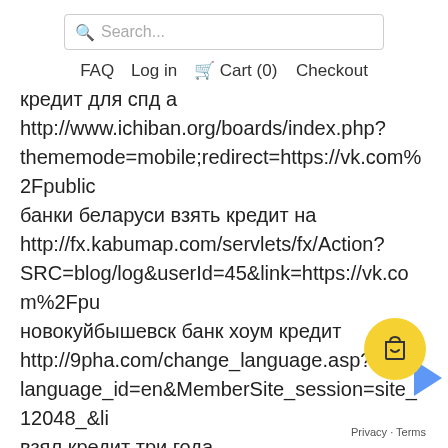Search...
FAQ   Log in   Cart (0)   Checkout
кредит для спд а
http://www.ichiban.org/boards/index.php?thememode=mobile;redirect=https://vk.com%2Fpublic
банки беларуси взять кредит на
http://fx.kabumap.com/servlets/fx/Action?SRC=blog/log&userId=45&link=https://vk.com%2Fpu
новокуйбышевск банк хоум кредит
http://9pha.com/change_language.asp?language_id=en&MemberSite_session=site_12048_&li
взял кредит три года
http://verpeliculasonline.org/wp-content/plugins/AND/AntiBounce/redirector.php?url=https://vk
кредит самарканд кулай